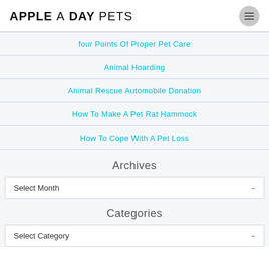APPLE A DAY PETS
four Points Of Proper Pet Care
Animal Hoarding
Animal Rescue Automobile Donation
How To Make A Pet Rat Hammock
How To Cope With A Pet Loss
Archives
Select Month
Categories
Select Category